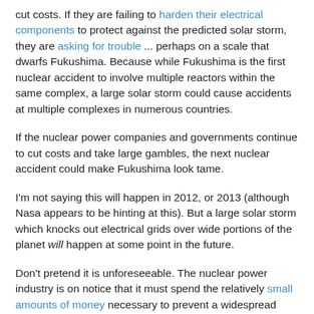cut costs. If they are failing to harden their electrical components to protect against the predicted solar storm, they are asking for trouble ... perhaps on a scale that dwarfs Fukushima. Because while Fukushima is the first nuclear accident to involve multiple reactors within the same complex, a large solar storm could cause accidents at multiple complexes in numerous countries.
If the nuclear power companies and governments continue to cut costs and take large gambles, the next nuclear accident could make Fukushima look tame.
I'm not saying this will happen in 2012, or 2013 (although Nasa appears to be hinting at this). But a large solar storm which knocks out electrical grids over wide portions of the planet will happen at some point in the future.
Don't pretend it is unforeseeable. The nuclear power industry is on notice that it must spend the relatively small amounts of money necessary to prevent a widespread meltdown from the loss of power due to a solar storm.